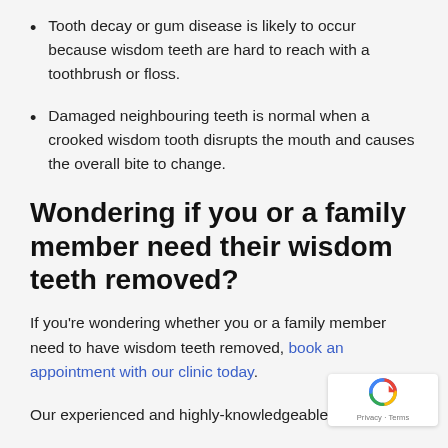Tooth decay or gum disease is likely to occur because wisdom teeth are hard to reach with a toothbrush or floss.
Damaged neighbouring teeth is normal when a crooked wisdom tooth disrupts the mouth and causes the overall bite to change.
Wondering if you or a family member need their wisdom teeth removed?
If you're wondering whether you or a family member need to have wisdom teeth removed, book an appointment with our clinic today.
Our experienced and highly-knowledgeable dentists and